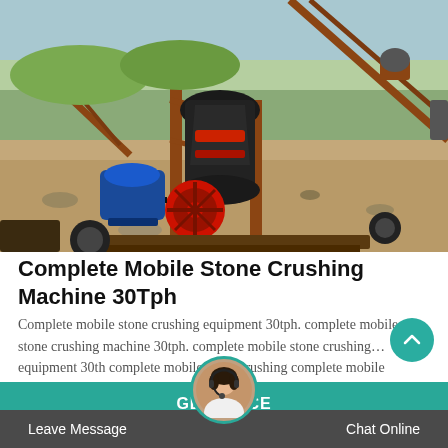[Figure (photo): Outdoor photo of a complete mobile stone crushing machine 30tph at a mining/quarry site. Shows a cone crusher with electric motor (blue motor with red flywheel), supported by metal frame structures and conveyor belts in the background. Dry earth terrain with rocks and equipment visible.]
Complete Mobile Stone Crushing Machine 30Tph
Complete mobile stone crushing equipment 30tph. complete mobile stone crushing machine 30tph. complete mobile stone crushing… equipment 30th complete mobile stone crushing complete mobile
GET PRICE
Leave Message
Chat Online